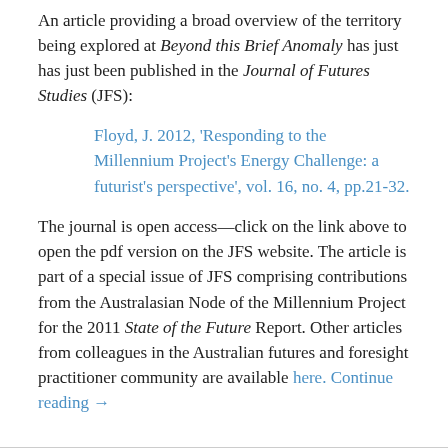An article providing a broad overview of the territory being explored at Beyond this Brief Anomaly has just has just been published in the Journal of Futures Studies (JFS):
Floyd, J. 2012, 'Responding to the Millennium Project's Energy Challenge: a futurist's perspective', vol. 16, no. 4, pp.21-32.
The journal is open access—click on the link above to open the pdf version on the JFS website. The article is part of a special issue of JFS comprising contributions from the Australasian Node of the Millennium Project for the 2011 State of the Future Report. Other articles from colleagues in the Australian futures and foresight practitioner community are available here. Continue reading →